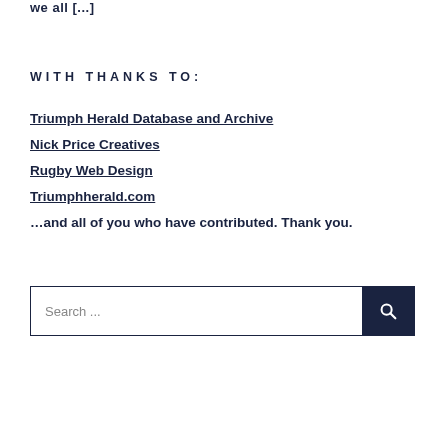we all [...]
WITH THANKS TO:
Triumph Herald Database and Archive
Nick Price Creatives
Rugby Web Design
Triumphherald.com
…and all of you who have contributed. Thank you.
[Figure (other): Search bar with text input placeholder 'Search ...' and a dark navy search button with magnifying glass icon]